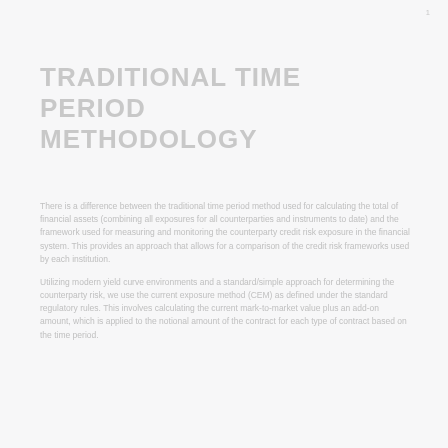TRADITIONAL TIME PERIOD
METHODOLOGY
There is a difference between the traditional time period method used for calculating the total of financial assets (combining all exposures for all counterparties and instruments to date) and the framework used for measuring and monitoring the counterparty credit risk exposure in the financial system.
Utilizing modern yield curve environments and a standard/simple approach for determining the counterparty risk, we use the current exposure method (CEM) as defined under the standard regulatory rules. This involves calculating the current mark-to-market value plus an add-on amount.